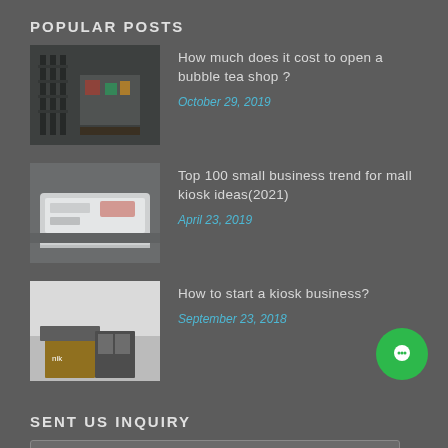POPULAR POSTS
[Figure (photo): Interior of a bubble tea or retail shop with shelving and products]
How much does it cost to open a bubble tea shop ?
October 29, 2019
[Figure (photo): White modern mall kiosk counter with display]
Top 100 small business trend for mall kiosk ideas(2021)
April 23, 2019
[Figure (photo): Kiosk business display with wood and metal elements]
How to start a kiosk business?
September 23, 2018
SENT US INQUIRY
Name